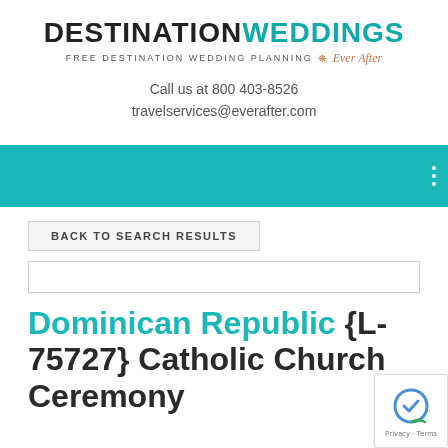DESTINATION WEDDINGS FREE DESTINATION WEDDING PLANNING by Ever After
Call us at 800 403-8526
travelservices@everafter.com
[Figure (other): Teal navigation bar with three white dots menu icon on right]
BACK TO SEARCH RESULTS
Dominican Republic {L-75727} Catholic Church Ceremony
[Figure (other): reCAPTCHA privacy badge with Privacy - Terms text]